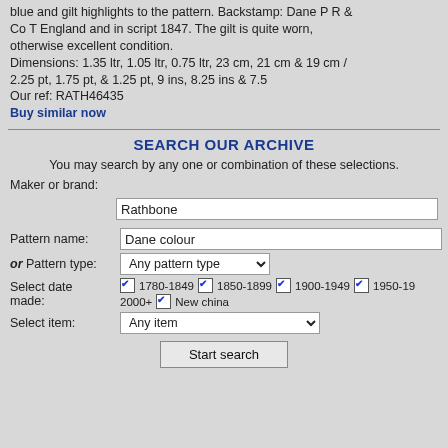blue and gilt highlights to the pattern. Backstamp: Dane P R & Co T England and in script 1847. The gilt is quite worn, otherwise excellent condition.
Dimensions: 1.35 ltr, 1.05 ltr, 0.75 ltr, 23 cm, 21 cm & 19 cm / 2.25 pt, 1.75 pt, & 1.25 pt, 9 ins, 8.25 ins & 7.5
Our ref: RATH46435
Buy similar now
SEARCH OUR ARCHIVE
You may search by any one or combination of these selections.
Maker or brand:
Rathbone
Pattern name: Dane colour
or Pattern type: Any pattern type
Select date made: 1780-1849  1850-1899  1900-1949  1950-19... 2000+  New china
Select item: Any item
Start search